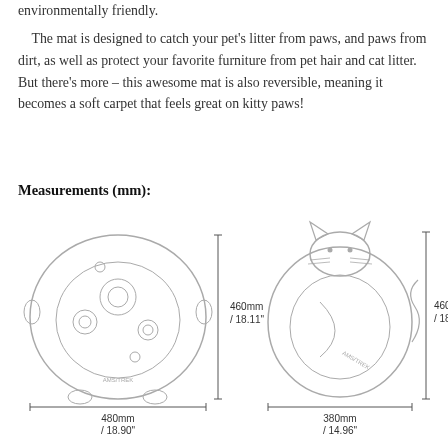environmentally friendly.
The mat is designed to catch your pet's litter from paws, and paws from dirt, as well as protect your favorite furniture from pet hair and cat litter. But there's more – this awesome mat is also reversible, meaning it becomes a soft carpet that feels great on kitty paws!
Measurements (mm):
[Figure (engineering-diagram): Two product diagrams side by side. Left: circular moon-crater textured mat outline labeled 480mm / 18.90" wide and 460mm / 18.11" tall. Right: cat-shaped mat outline labeled 380mm / 14.96" wide and 460mm / 18.11" tall. Both show dimension lines with measurements.]